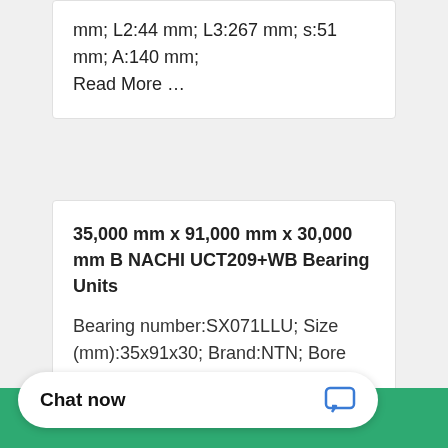mm; L2:44 mm; L3:267 mm; s:51 mm; A:140 mm; Read More …
35,000 mm x 91,000 mm x 30,000 mm B NACHI UCT209+WB Bearing Units
Bearing number:SX071LLU; Size (mm):35x91x30; Brand:NTN; Bore Diameter (mm):35,000; Outer Diameter Read More